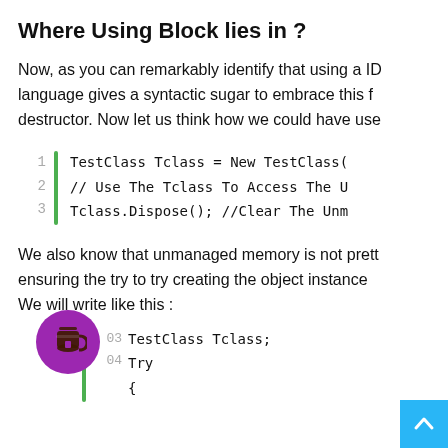Where Using Block lies in ?
Now, as you can remarkably identify that using a ID language gives a syntactic sugar to embrace this f destructor. Now let us think how we could have use
[Figure (screenshot): Code block with line numbers 1-3 and green bar. Code: TestClass Tclass = New TestClass( // Use The Tclass To Access The U Tclass.Dispose(); //Clear The Unm]
We also know that unmanaged memory is not prett ensuring the try to try creating the object instance We will write like this :
[Figure (screenshot): Code block with line numbers 03-04 and green bar. Code: TestClass Tclass; Try {]